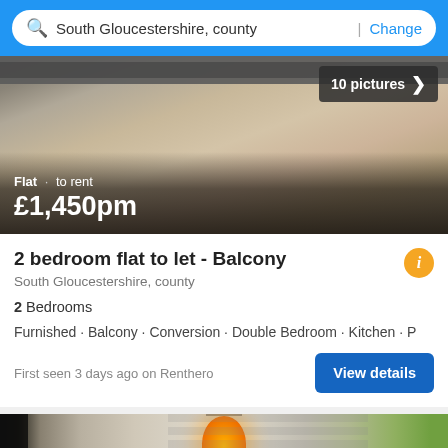South Gloucestershire, county | Change
[Figure (photo): Interior room photo of a flat with price overlay showing Flat · to rent £1,450pm and 10 pictures badge]
2 bedroom flat to let - Balcony
South Gloucestershire, county
2 Bedrooms
Furnished · Balcony · Conversion · Double Bedroom · Kitchen · P
First seen 3 days ago on Renthero
[Figure (photo): Interior photo of a room with orange pendant lamp, venetian blinds, and a Filter button overlay with orange up-arrow button]